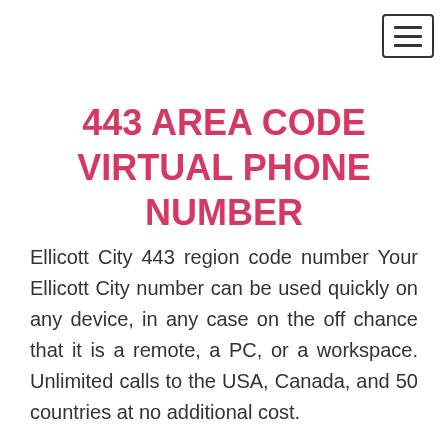[Figure (other): Hamburger menu button icon — three horizontal lines inside a bordered rectangle, positioned top-right]
443 AREA CODE VIRTUAL PHONE NUMBER
Ellicott City 443 region code number Your Ellicott City number can be used quickly on any device, in any case on the off chance that it is a remote, a PC, or a workspace. Unlimited calls to the USA, Canada, and 50 countries at no additional cost.